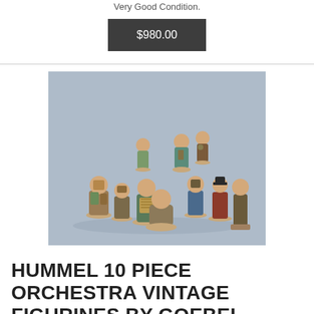Very Good Condition.
$980.00
[Figure (photo): Group of Hummel ceramic figurines arranged on a light blue background, depicting children playing musical instruments in an orchestra scene.]
HUMMEL 10 PIECE ORCHESTRA VINTAGE FIGURINES BY GOEBEL